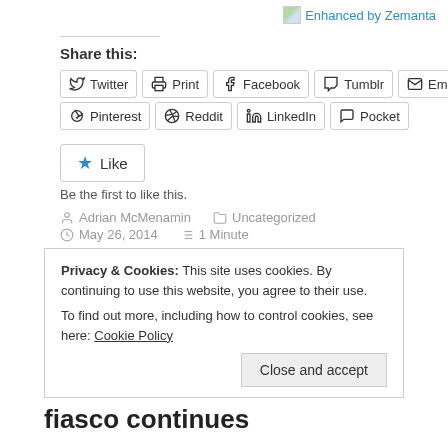[Figure (logo): Enhanced by Zemanta logo/link with small image icon, top right]
Share this:
Twitter  Print  Facebook  Tumblr  Email
Pinterest  Reddit  LinkedIn  Pocket
Like
Be the first to like this.
Adrian McMenamin   Uncategorized
May 26, 2014   1 Minute
Privacy & Cookies: This site uses cookies. By continuing to use this website, you agree to their use.
To find out more, including how to control cookies, see here: Cookie Policy
Close and accept
fiasco continues